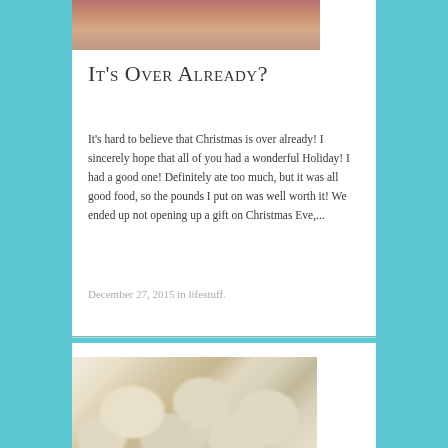[Figure (photo): Top portion of a photo showing what appears to be a Christmas/holiday floral arrangement with red flowers and greenery]
It's Over Already?
It's hard to believe that Christmas is over already! I sincerely hope that all of you had a wonderful Holiday! I had a good one! Definitely ate too much, but it was all good food, so the pounds I put on was well worth it! We ended up not opening up a gift on Christmas Eve,...
December 27, 2015 in lifestuff.
[Figure (photo): Photo of cookies — soft, round cookies with chocolate chips on a light surface]